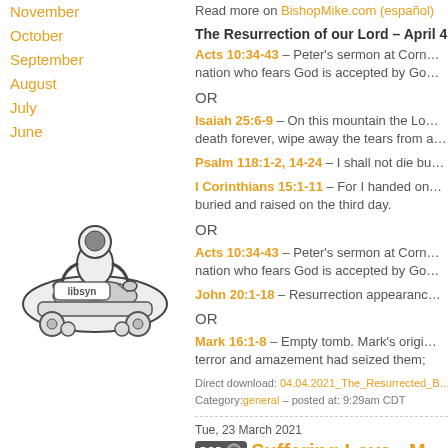November
October
September
August
July
June
[Figure (illustration): Libsyn podcast logo illustration showing a cartoon astronaut DJ on a turntable cart with 'libsyn' text]
Read more on BishopMike.com (español)
The Resurrection of our Lord – April 4
Acts 10:34-43 – Peter's sermon at Corn... nation who fears God is accepted by Go...
OR
Isaiah 25:6-9 – On this mountain the Lo... death forever, wipe away the tears from a...
Psalm 118:1-2, 14-24 – I shall not die bu...
I Corinthians 15:1-11 – For I handed on... buried and raised on the third day.
OR
Acts 10:34-43 – Peter's sermon at Corn... nation who fears God is accepted by Go...
John 20:1-18 – Resurrection appearanc...
OR
Mark 16:1-8 – Empty tomb. Mark's origi... terror and amazement had seized them;
Direct download: 04.04.2021_The_Resurrected_B...
Category:general – posted at: 9:29am CDT
Tue, 23 March 2021
Suffering Love - M... Friday